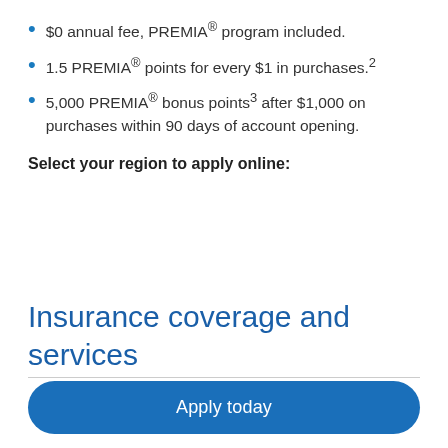$0 annual fee, PREMIA® program included.
1.5 PREMIA® points for every $1 in purchases.²
5,000 PREMIA® bonus points³ after $1,000 on purchases within 90 days of account opening.
Select your region to apply online:
Insurance coverage and services
Apply today